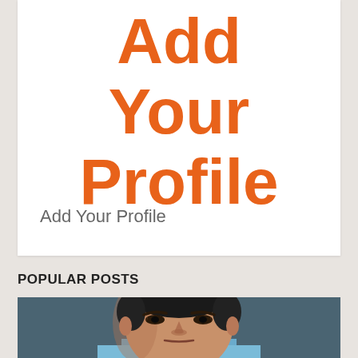Add Your Profile
Add Your Profile
POPULAR POSTS
[Figure (photo): Close-up portrait of a middle-aged Asian man with a serious expression, wearing a light blue shirt, against a dark gray background.]